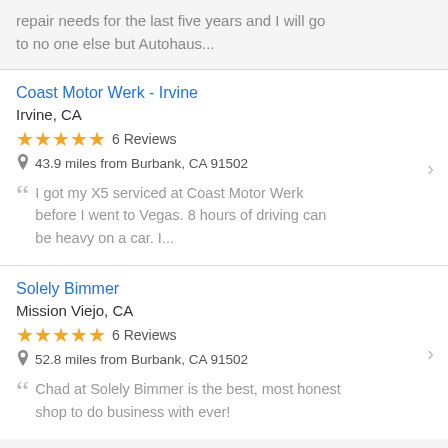repair needs for the last five years and I will go to no one else but Autohaus...
Coast Motor Werk - Irvine
Irvine, CA
★★★★★ 6 Reviews
43.9 miles from Burbank, CA 91502
I got my X5 serviced at Coast Motor Werk before I went to Vegas. 8 hours of driving can be heavy on a car. I...
Solely Bimmer
Mission Viejo, CA
★★★★★ 6 Reviews
52.8 miles from Burbank, CA 91502
Chad at Solely Bimmer is the best, most honest shop to do business with ever!